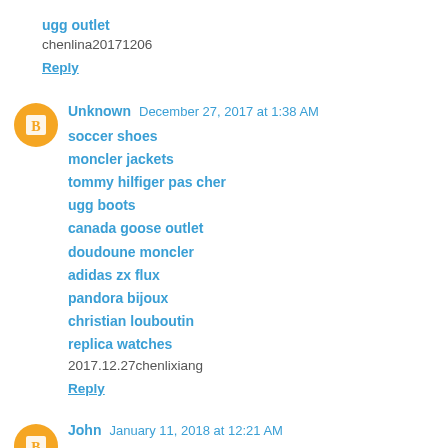ugg outlet
chenlina20171206
Reply
Unknown  December 27, 2017 at 1:38 AM
soccer shoes
moncler jackets
tommy hilfiger pas cher
ugg boots
canada goose outlet
doudoune moncler
adidas zx flux
pandora bijoux
christian louboutin
replica watches
2017.12.27chenlixiang
Reply
John  January 11, 2018 at 12:21 AM